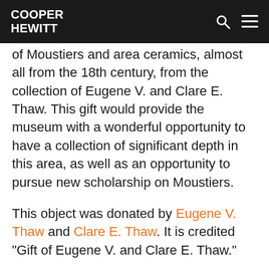COOPER HEWITT
of Moustiers and area ceramics, almost all from the 18th century, from the collection of Eugene V. and Clare E. Thaw. This gift would provide the museum with a wonderful opportunity to have a collection of significant depth in this area, as well as an opportunity to pursue new scholarship on Moustiers.
This object was donated by Eugene V. Thaw and Clare E. Thaw. It is credited “Gift of Eugene V. and Clare E. Thaw.”